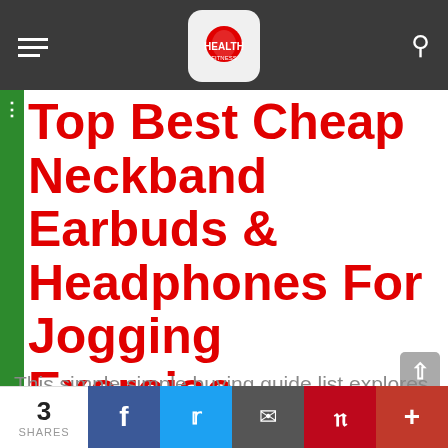Health Fitness World — navigation header with hamburger menu, logo, and search icon
Top Best Cheap Neckband Earbuds & Headphones For Jogging Exercise
This simple simple buying guide list explores a wide variety the best cheap neckband earbuds and
3 SHARES | Facebook | Twitter | Email | Pinterest | More